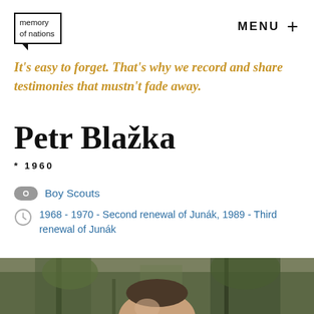memory of nations
MENU +
It's easy to forget. That's why we record and share testimonies that mustn't fade away.
Petr Blažka
* 1960
Boy Scouts
1968 - 1970 - Second renewal of Junák, 1989 - Third renewal of Junák
[Figure (photo): Photograph of Petr Blažka, partial face visible at bottom of page, outdoor background with trees]